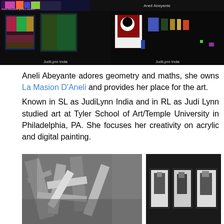[Figure (photo): Top strip showing two virtual gallery scenes: left panel has colorful abstract artworks labeled with a tiny caption at bottom left; right panel labeled 'Aneli Abeyante' shows a dark gallery space with artworks on walls]
[Figure (photo): Middle row: left panel shows two colorful artworks in a dark virtual gallery space labeled 'JudiLynn India'; right panel shows a dark virtual gallery with a large black-and-white artwork and multiple artworks along the walls labeled 'JudiLynn India']
Aneli Abeyante adores geometry and maths, she owns La Masion D'Aneli and provides her place for the art.
Known in SL as JudiLynn India and in RL as Judi Lynn studied art at Tyler School of Art/Temple University in Philadelphia, PA. She focuses her creativity on acrylic and digital painting.
[Figure (photo): Bottom left: black and white photograph of geometric abstract shapes resembling large angular forms or sculptures]
[Figure (photo): Bottom right: dark background with three small illuminated black-and-white photographic panels showing figures]